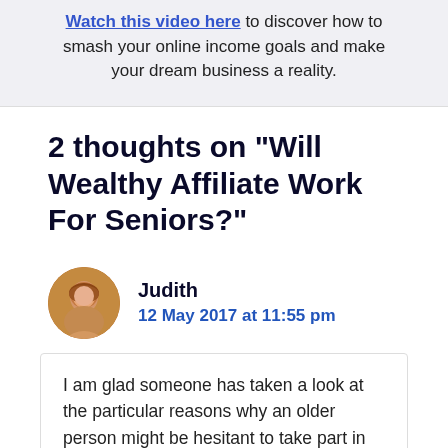Watch this video here to discover how to smash your online income goals and make your dream business a reality.
2 thoughts on “Will Wealthy Affiliate Work For Seniors?”
Judith
12 May 2017 at 11:55 pm
I am glad someone has taken a look at the particular reasons why an older person might be hesitant to take part in the Wealthy Affiliate online program. I